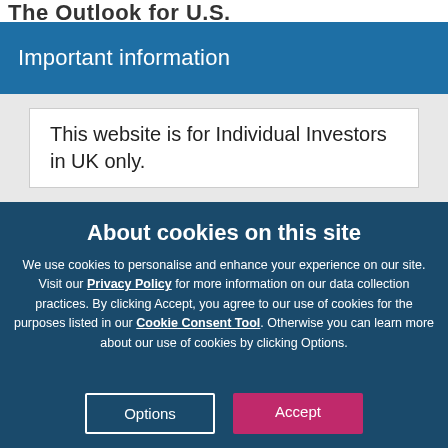The Outlook for U.S.
Important information
This website is for Individual Investors in UK only.
About cookies on this site
We use cookies to personalise and enhance your experience on our site. Visit our Privacy Policy for more information on our data collection practices. By clicking Accept, you agree to our use of cookies for the purposes listed in our Cookie Consent Tool. Otherwise you can learn more about our use of cookies by clicking Options.
Options
Accept